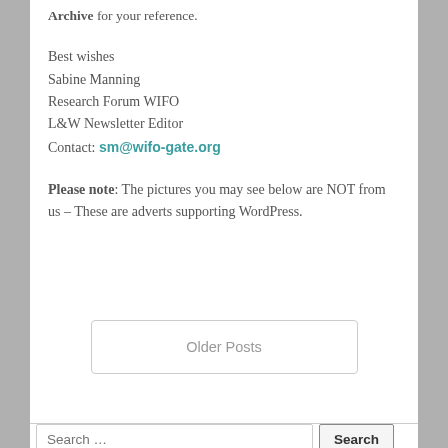Archive for your reference.
Best wishes
Sabine Manning
Research Forum WIFO
L&W Newsletter Editor
Contact: sm@wifo-gate.org
Please note: The pictures you may see below are NOT from us – These are adverts supporting WordPress.
Older Posts
Search …
Search